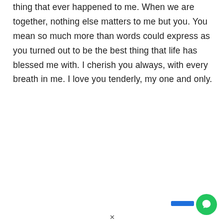thing that ever happened to me. When we are together, nothing else matters to me but you. You mean so much more than words could express as you turned out to be the best thing that life has blessed me with. I cherish you always, with every breath in me. I love you tenderly, my one and only.